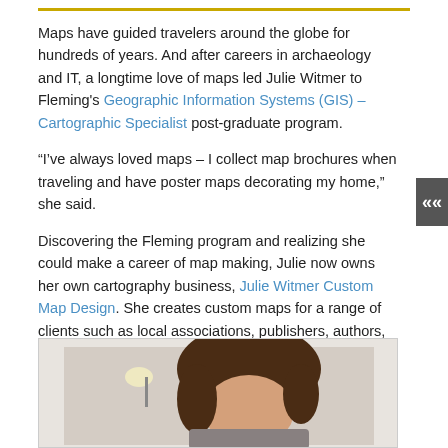Maps have guided travelers around the globe for hundreds of years. And after careers in archaeology and IT, a longtime love of maps led Julie Witmer to Fleming's Geographic Information Systems (GIS) – Cartographic Specialist post-graduate program.
“I’ve always loved maps – I collect map brochures when traveling and have poster maps decorating my home,” she said.
Discovering the Fleming program and realizing she could make a career of map making, Julie now owns her own cartography business, Julie Witmer Custom Map Design. She creates custom maps for a range of clients such as local associations, publishers, authors, small business owners, non-profit organizations, and municipalities.
[Figure (photo): Portrait photo of Julie Witmer, a woman with brown hair, photographed indoors against a light wall with a lamp visible in the background.]